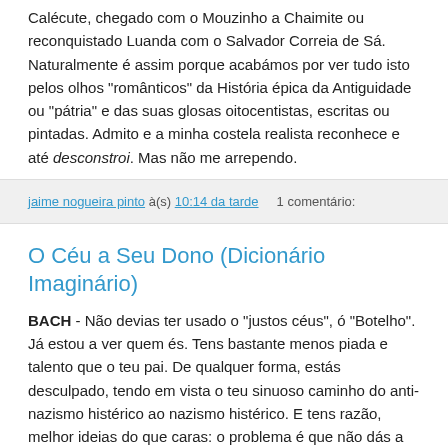Calécute, chegado com o Mouzinho a Chaimite ou reconquistado Luanda com o Salvador Correia de Sá. Naturalmente é assim porque acabámos por ver tudo isto pelos olhos "românticos" da História épica da Antiguidade ou "pátria" e das suas glosas oitocentistas, escritas ou pintadas. Admito e a minha costela realista reconhece e até desconstroi. Mas não me arrependo.
jaime nogueira pinto à(s) 10:14 da tarde    1 comentário:
O Céu a Seu Dono (Dicionário Imaginário)
BACH - Não devias ter usado o "justos céus", ó "Botelho". Já estou a ver quem és. Tens bastante menos piada e talento que o teu pai. De qualquer forma, estás desculpado, tendo em vista o teu sinuoso caminho do anti-nazismo histérico ao nazismo histérico. E tens razão, melhor ideias do que caras: o problema é que não dás a cara e, em ideias, ofereces mais confusão do que outra coisa. De qualquer